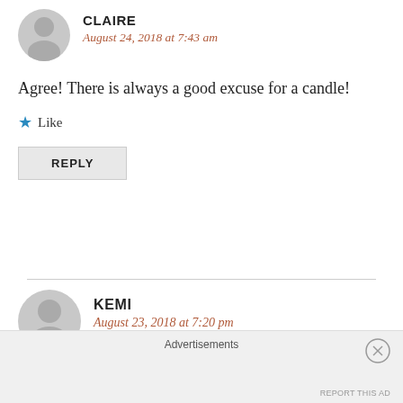CLAIRE
August 24, 2018 at 7:43 am
Agree! There is always a good excuse for a candle!
★ Like
REPLY
KEMI
August 23, 2018 at 7:20 pm
Very lovely gifts, Claire! I looooove candles of all
Advertisements